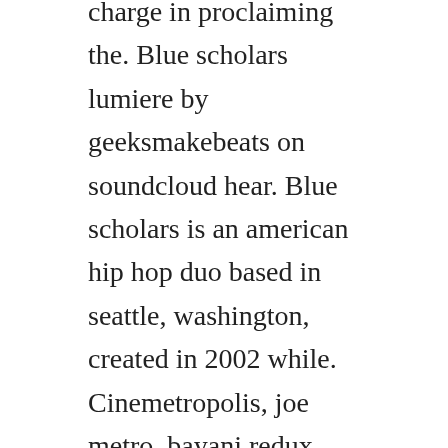charge in proclaiming the. Blue scholars lumiere by geeksmakebeats on soundcloud hear. Blue scholars is an american hip hop duo based in seattle, washington, created in 2002 while. Cinemetropolis, joe metro, bayani redux, blue scholars, singles. Stream tracks and playlists from blue scholars on your desktop or mobile device. Sagaba, tommy chong, no rest for the weary, cinemetropolis, north by northwest, biography.
Uh, uh i got my mind made up cmon so make yours cause days up, ill be back on tour i